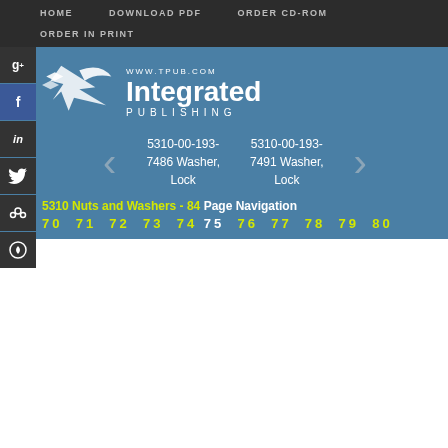HOME   DOWNLOAD PDF   ORDER CD-ROM   ORDER IN PRINT
[Figure (logo): Integrated Publishing logo with bird/arrow graphic and text 'WWW.TPUB.COM Integrated PUBLISHING']
5310-00-193-7486 Washer, Lock
5310-00-193-7491 Washer, Lock
5310 Nuts and Washers - 84 Page Navigation
70  71  72  73  74  75  76  77  78  79  80